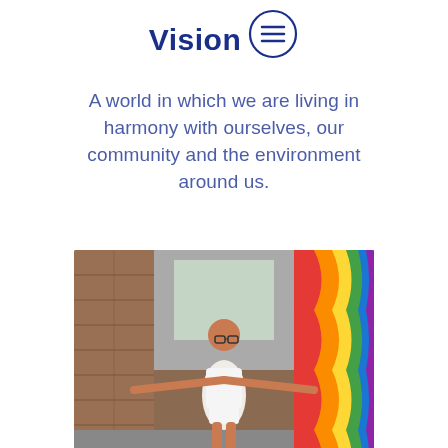Vision
A world in which we are living in harmony with ourselves, our community and the environment around us.
[Figure (photo): A woman in a white outfit standing in an alleyway with arms spread wide, touching a brown brick wall on the left and a colorful rainbow mural on the right.]